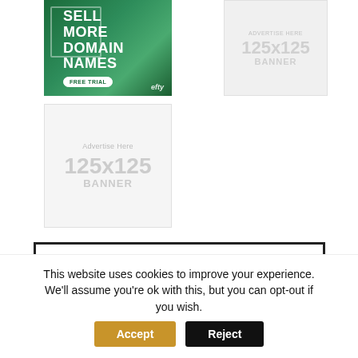[Figure (illustration): Efty ad banner - SELL MORE DOMAIN NAMES with FREE TRIAL button on green tropical background]
[Figure (illustration): 125x125 BANNER placeholder ad - light gray background]
[Figure (illustration): Advertise Here 125x125 BANNER placeholder ad - light gray background]
[Figure (logo): Escrow.com advertisement banner with shield logo and ESCROW.COM text]
This website uses cookies to improve your experience. We'll assume you're ok with this, but you can opt-out if you wish.
Accept
Reject